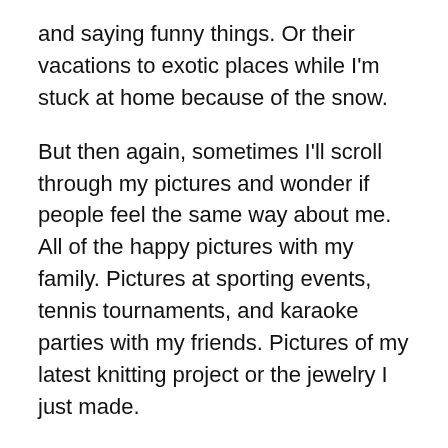and saying funny things. Or their vacations to exotic places while I'm stuck at home because of the snow.
But then again, sometimes I'll scroll through my pictures and wonder if people feel the same way about me. All of the happy pictures with my family. Pictures at sporting events, tennis tournaments, and karaoke parties with my friends. Pictures of my latest knitting project or the jewelry I just made.
Even if we want to be more honest on social media, it's hard to do because it's so visually oriented. Like, it never occurred to me to take a picture when I was getting my divorce papers notarized. Or to take a selfie of me lying on the couch, too depressed to do anything. I guess I could have taken a picture of that time I shattered my microwave door and had to sweep up hundreds of shards of glass,